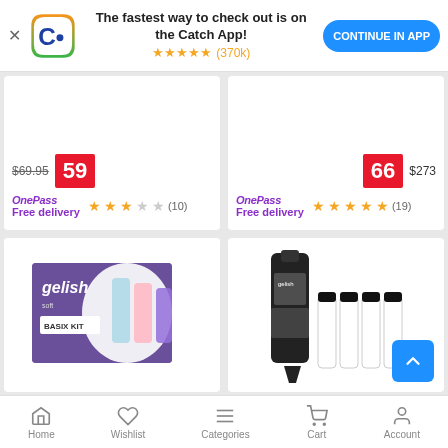[Figure (screenshot): Catch app promotional banner with logo, star rating (370k reviews), and Continue in App button]
The fastest way to check out is on the Catch App!
★★★★★ (370k)
CONTINUE IN APP
[Figure (photo): Product card top - partially visible price $69.95 crossed out, red badge showing 59, OnePass Free delivery, 2.5 star rating (10 reviews)]
[Figure (photo): Product card top - partially visible red badge showing 66, price $273, OnePass Free delivery, 4.5 star rating (19 reviews)]
[Figure (photo): Gelish Soft Gel Basix Kit product image in purple box]
Gelish Soft Gel Basix Kit
[Figure (photo): Nitro Soak Off UV LED Gel Nail Polish Super - bottles shown]
Nitro Soak Off UV LED Gel Nail Polish Super